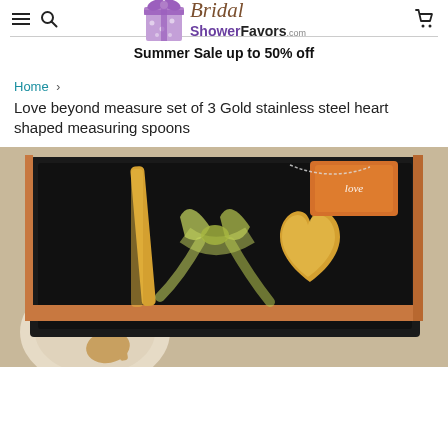BridalShowerFavors.com
Summer Sale up to 50% off
Home > Love beyond measure set of 3 Gold stainless steel heart shaped measuring spoons
Love beyond measure set of 3 Gold stainless steel heart shaped measuring spoons
[Figure (photo): Gold stainless steel heart shaped measuring spoons in a black gift box tied with a yellow-green ribbon, displayed on a beige surface with additional spoons nearby.]